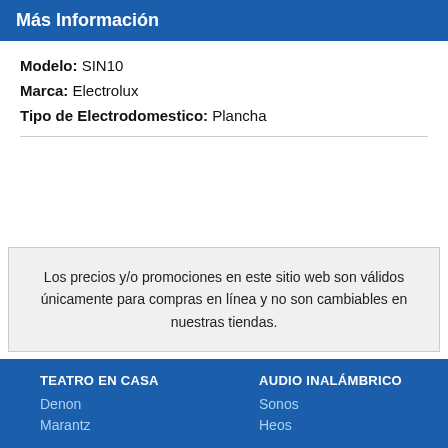Más Información
Modelo:  SIN10
Marca:  Electrolux
Tipo de Electrodomestico:  Plancha
Los precios y/o promociones en este sitio web son válidos únicamente para compras en línea y no son cambiables en nuestras tiendas.
TEATRO EN CASA
Denon
Marantz
AUDIO INALÁMBRICO
Sonos
Heos